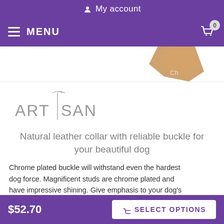My account
MENU
[Figure (screenshot): Partial product image showing a tan/brown leather collar from above, cropped at top edge]
[Figure (logo): ARTISAN brand logo in grey with a vertical line dividing ART and SAN, decorative swash above]
Natural leather collar with reliable buckle for your beautiful dog
Chrome plated buckle will withstand even the hardest dog force. Magnificent studs are chrome plated and have impressive shining. Give emphasis to your dog's outlook, buy this FDT Artisan gorgeous full grain natural leather supply!
$52.70  SELECT OPTIONS